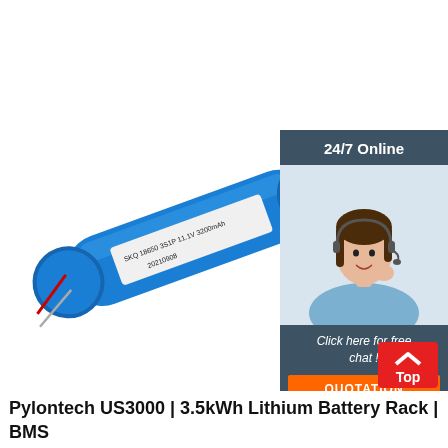[Figure (photo): Blue cylindrical lithium battery pack labeled SKQ 18650 3S1P 11.1V 3200mAh, dated 20210908, with red and silver wire leads, positioned diagonally on white background]
[Figure (infographic): Dark blue chat widget showing '24/7 Online' header, customer service representative with headset, 'Click here for free chat!' text, and orange QUOTATION button]
[Figure (other): Red and white 'Top' scroll-to-top button with upward chevron arrow]
Pylontech US3000 | 3.5kWh Lithium Battery Rack | BMS